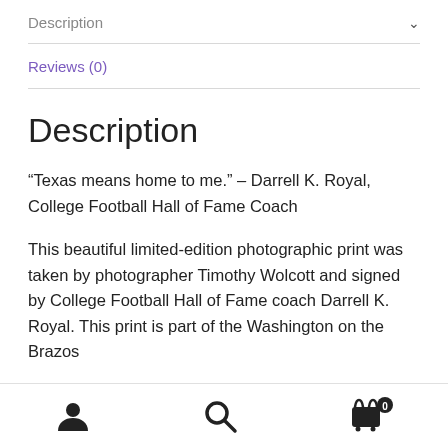Description
Reviews (0)
Description
“Texas means home to me.” – Darrell K. Royal, College Football Hall of Fame Coach
This beautiful limited-edition photographic print was taken by photographer Timothy Wolcott and signed by College Football Hall of Fame coach Darrell K. Royal. This print is part of the Washington on the Brazos
User icon | Search icon | Cart (0)